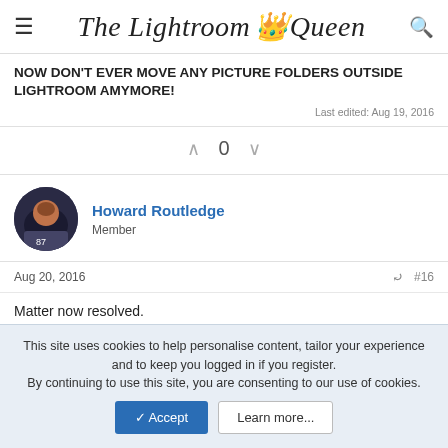The Lightroom Queen
NOW DON'T EVER MOVE ANY PICTURE FOLDERS OUTSIDE LIGHTROOM AMYMORE!
Last edited: Aug 19, 2016
0
Howard Routledge
Member
Aug 20, 2016
#16
Matter now resolved.
This site uses cookies to help personalise content, tailor your experience and to keep you logged in if you register.
By continuing to use this site, you are consenting to our use of cookies.